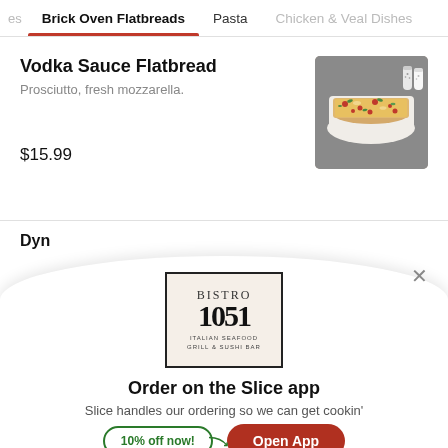es   Brick Oven Flatbreads   Pasta   Chicken & Veal Dishes
Vodka Sauce Flatbread
Prosciutto, fresh mozzarella.
[Figure (photo): Photo of a long flatbread pizza topped with cheese, prosciutto, and fresh herbs on a white rectangular serving board, with salt and pepper shakers in the background.]
$15.99
Dyn
[Figure (logo): Bistro 1051 logo — a square bordered box with large numerals 1051 and text 'BISTRO' above, 'ITALIAN SEAFOOD GRILL & SUSHI BAR' below, on a cream background.]
Order on the Slice app
Slice handles our ordering so we can get cookin'
10% off now!
Open App